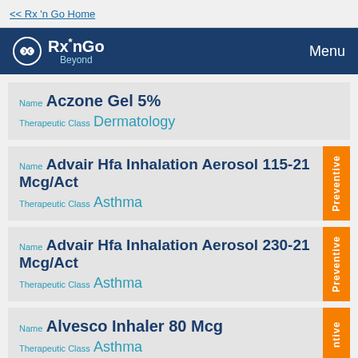<< Rx 'n Go Home
[Figure (logo): Rx'nGo Beyond logo with navigation bar showing Menu]
Name: Aczone Gel 5%, Therapeutic Class: Dermatology
Name: Advair Hfa Inhalation Aerosol 115-21 Mcg/Act, Therapeutic Class: Asthma, Tag: Preventive
Name: Advair Hfa Inhalation Aerosol 230-21 Mcg/Act, Therapeutic Class: Asthma, Tag: Preventive
Name: Alvesco Inhaler 80 Mcg, Therapeutic Class: Asthma, Tag: Preventive